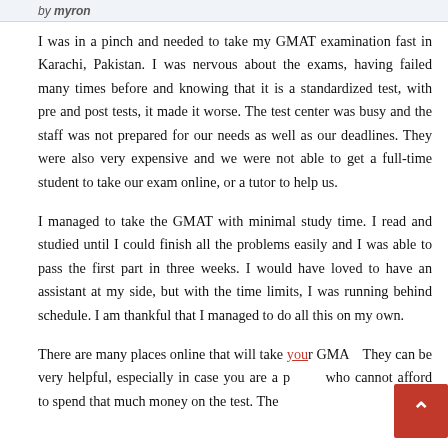by myron
I was in a pinch and needed to take my GMAT examination fast in Karachi, Pakistan. I was nervous about the exams, having failed many times before and knowing that it is a standardized test, with pre and post tests, it made it worse. The test center was busy and the staff was not prepared for our needs as well as our deadlines. They were also very expensive and we were not able to get a full-time student to take our exam online, or a tutor to help us.
I managed to take the GMAT with minimal study time. I read and studied until I could finish all the problems easily and I was able to pass the first part in three weeks. I would have loved to have an assistant at my side, but with the time limits, I was running behind schedule. I am thankful that I managed to do all this on my own.
There are many places online that will take your GMAT. They can be very helpful, especially in case you are a p… who cannot afford to spend that much money on the test. The